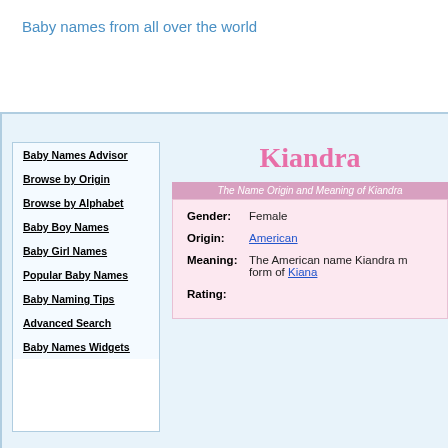Baby names from all over the world
Baby Names Advisor
Browse by Origin
Browse by Alphabet
Baby Boy Names
Baby Girl Names
Popular Baby Names
Baby Naming Tips
Advanced Search
Baby Names Widgets
Kiandra
The Name Origin and Meaning of Kiandra
| Field | Value |
| --- | --- |
| Gender: | Female |
| Origin: | American |
| Meaning: | The American name Kiandra m... form of Kiana |
| Rating: |  |